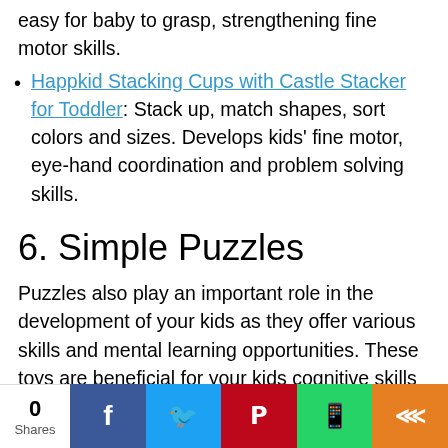Happkid Stacking Cups with Castle Stacker for Toddler: Stack up, match shapes, sort colors and sizes. Develops kids' fine motor, eye-hand coordination and problem solving skills.
6. Simple Puzzles
Puzzles also play an important role in the development of your kids as they offer various skills and mental learning opportunities. These toys are beneficial for your kids cognitive skills since kids develop a deeper understanding of the topic. Puzzles also help refine your kids fine motor skills…